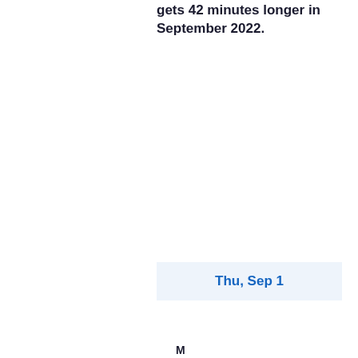gets 42 minutes longer in September 2022.
Thu, Sep 1
M